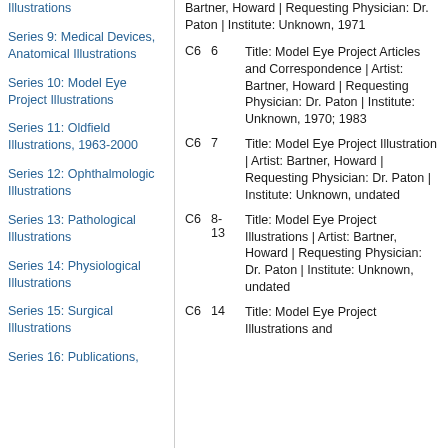Illustrations
Series 9: Medical Devices, Anatomical Illustrations
Series 10: Model Eye Project Illustrations
Series 11: Oldfield Illustrations, 1963-2000
Series 12: Ophthalmologic Illustrations
Series 13: Pathological Illustrations
Series 14: Physiological Illustrations
Series 15: Surgical Illustrations
Series 16: Publications,
Bartner, Howard | Requesting Physician: Dr. Paton | Institute: Unknown, 1971
C6 6 Title: Model Eye Project Articles and Correspondence | Artist: Bartner, Howard | Requesting Physician: Dr. Paton | Institute: Unknown, 1970; 1983
C6 7 Title: Model Eye Project Illustration | Artist: Bartner, Howard | Requesting Physician: Dr. Paton | Institute: Unknown, undated
C6 8-13 Title: Model Eye Project Illustrations | Artist: Bartner, Howard | Requesting Physician: Dr. Paton | Institute: Unknown, undated
C6 14 Title: Model Eye Project Illustrations and